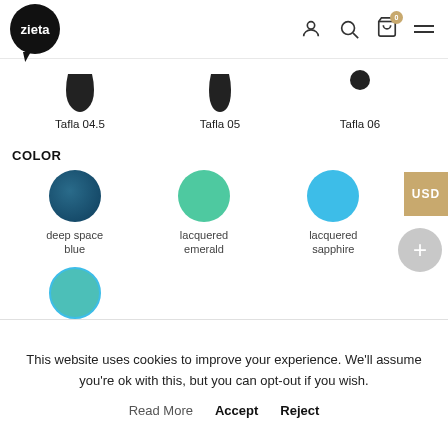zieta
[Figure (screenshot): Product size icons: Tafla 04.5, Tafla 05, Tafla 06 shown as vase/mirror silhouettes]
Tafla 04.5
Tafla 05
Tafla 06
COLOR
[Figure (illustration): Color swatch circles: deep space blue, lacquered emerald, lacquered sapphire, lacquered sapphire/emerald]
deep space blue
lacquered emerald
lacquered sapphire
lacquered sapphire/emerald
This website uses cookies to improve your experience. We'll assume you're ok with this, but you can opt-out if you wish.
Read More   Accept   Reject